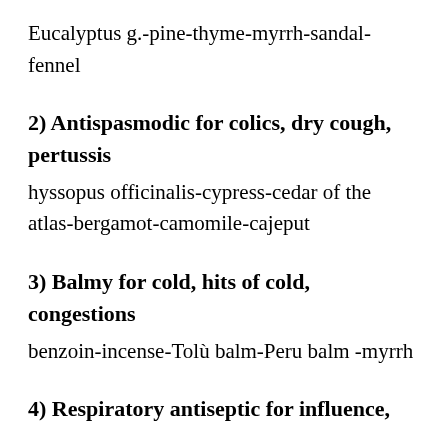Eucalyptus g.-pine-thyme-myrrh-sandal-fennel
2) Antispasmodic for colics, dry cough, pertussis
hyssopus officinalis-cypress-cedar of the atlas-bergamot-camomile-cajeput
3) Balmy for cold, hits of cold, congestions
benzoin-incense-Tolù balm-Peru balm -myrrh
4) Respiratory antiseptic for influence,